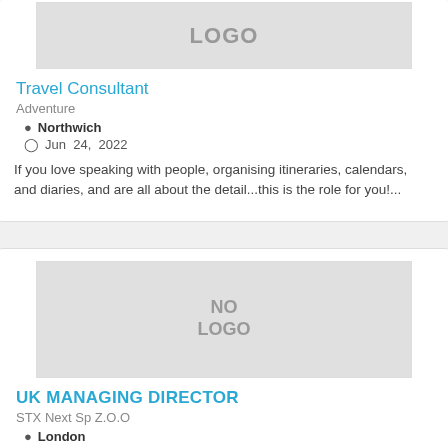[Figure (logo): LOGO placeholder image in light gray box]
Travel Consultant
Adventure
Northwich
Jun  24,  2022
If you love speaking with people, organising itineraries, calendars, and diaries, and are all about the detail...this is the role for you!...
[Figure (logo): NO LOGO placeholder image in light gray box]
UK MANAGING DIRECTOR
STX Next Sp Z.O.O
London
Jun  24,  2022
Job description We're looking for a UK Managing Director who can